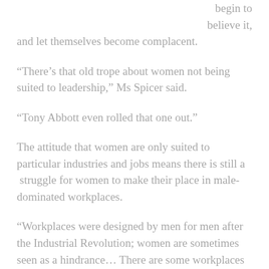begin to believe it, and let themselves become complacent.
“There’s that old trope about women not being suited to leadership,” Ms Spicer said.
“Tony Abbott even rolled that one out.”
The attitude that women are only suited to particular industries and jobs means there is still a  struggle for women to make their place in male-dominated workplaces.
“Workplaces were designed by men for men after the Industrial Revolution; women are sometimes seen as a hindrance… There are some workplaces which only had male toilets, until recent decades,” she said.